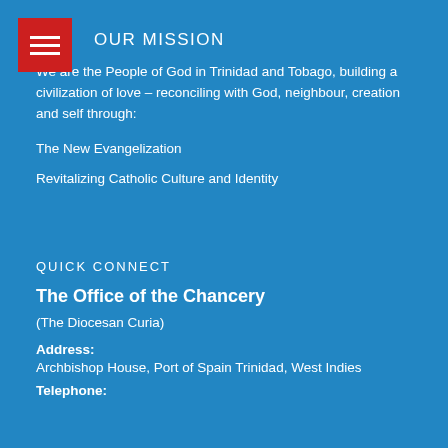OUR MISSION
We are the People of God in Trinidad and Tobago, building a civilization of love – reconciling with God, neighbour, creation and self through:
The New Evangelization
Revitalizing Catholic Culture and Identity
QUICK CONNECT
The Office of the Chancery
(The Diocesan Curia)
Address:
Archbishop House, Port of Spain Trinidad, West Indies
Telephone: